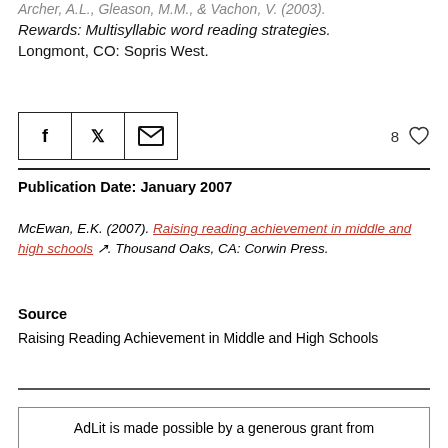Archer, A.L., Gleason, M.M., & Vachon, V. (2003). Rewards: Multisyllabic word reading strategies. Longmont, CO: Sopris West.
[Figure (other): Social sharing bar with Facebook, Twitter, and email icons, plus a like count of 8 with a heart icon]
Publication Date: January 2007
McEwan, E.K. (2007). Raising reading achievement in middle and high schools. Thousand Oaks, CA: Corwin Press.
Source
Raising Reading Achievement in Middle and High Schools
AdLit is made possible by a generous grant from